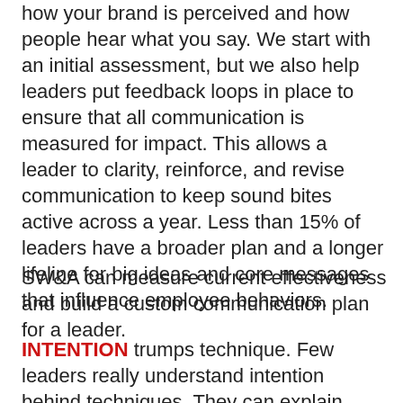how your brand is perceived and how people hear what you say. We start with an initial assessment, but we also help leaders put feedback loops in place to ensure that all communication is measured for impact. This allows a leader to clarity, reinforce, and revise communication to keep sound bites active across a year. Less than 15% of leaders have a broader plan and a longer lifeline for big ideas and core messages that influence employee behaviors.
SW&A can measure current effectiveness and build a custom communication plan for a leader.
INTENTION trumps technique. Few leaders really understand intention behind techniques. They can explain what they do to develop and deliver content, but the intent behind those tools isn't very clear. It's what sets us apart as coaches, and it's how we guide someone toward